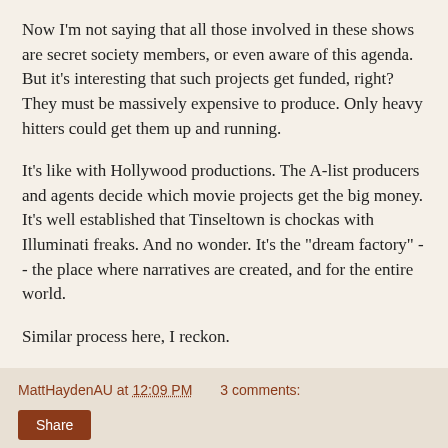Now I'm not saying that all those involved in these shows are secret society members, or even aware of this agenda. But it's interesting that such projects get funded, right? They must be massively expensive to produce. Only heavy hitters could get them up and running.
It's like with Hollywood productions. The A-list producers and agents decide which movie projects get the big money. It's well established that Tinseltown is chockas with Illuminati freaks. And no wonder. It's the "dream factory" -- the place where narratives are created, and for the entire world.
Similar process here, I reckon.
MattHaydenAU at 12:09 PM   3 comments:
Share
Monday, April 8, 2019
To PC lefties everything's political ... and